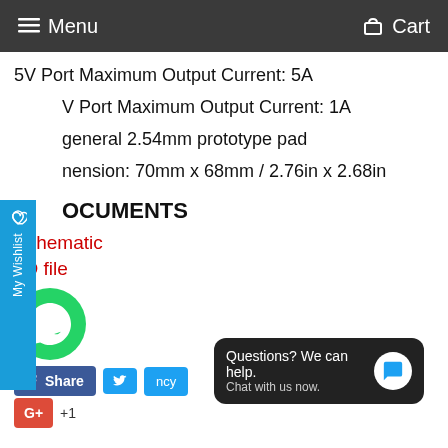Menu  Cart
5V Port Maximum Output Current: 5A
3.3V Port Maximum Output Current: 1A
48 general 2.54mm prototype pad
Dimension: 70mm x 68mm / 2.76in x 2.68in
DOCUMENTS
Schematic
3D file
[Figure (logo): WhatsApp logo icon, green circle with white phone handset]
Share  Tweet  Currency  G+ +1
Questions? We can help. Chat with us now.